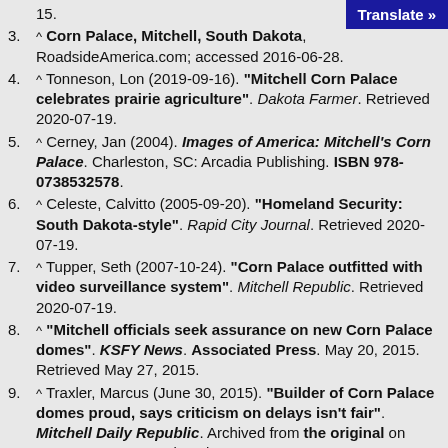15.
3. ^ Corn Palace, Mitchell, South Dakota, RoadsideAmerica.com; accessed 2016-06-28.
4. ^ Tonneson, Lon (2019-09-16). "Mitchell Corn Palace celebrates prairie agriculture". Dakota Farmer. Retrieved 2020-07-19.
5. ^ Cerney, Jan (2004). Images of America: Mitchell's Corn Palace. Charleston, SC: Arcadia Publishing. ISBN 978-0738532578.
6. ^ Celeste, Calvitto (2005-09-20). "Homeland Security: South Dakota-style". Rapid City Journal. Retrieved 2020-07-19.
7. ^ Tupper, Seth (2007-10-24). "Corn Palace outfitted with video surveillance system". Mitchell Republic. Retrieved 2020-07-19.
8. ^ "Mitchell officials seek assurance on new Corn Palace domes". KSFY News. Associated Press. May 20, 2015. Retrieved May 27, 2015.
9. ^ Traxler, Marcus (June 30, 2015). "Builder of Corn Palace domes proud, says criticism on delays isn't fair". Mitchell Daily Republic. Archived from the original on August 2, 2015. Retrieved August 1, 2015.
10. ^ Jump up to: a b c Spangler, Jessie (2018-10-